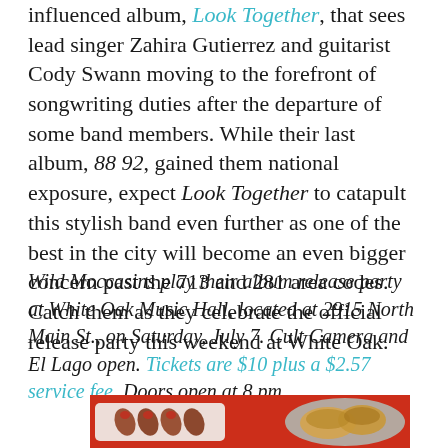influenced album, Look Together, that sees lead singer Zahira Gutierrez and guitarist Cody Swann moving to the forefront of songwriting duties after the departure of some band members. While their last album, 88 92, gained them national exposure, expect Look Together to catapult this stylish band even further as one of the best in the city will become an even bigger concern past the 713 and 281 area codes. Catch them as they celebrate the official release party this weekend at White Oak.
Wild Moccasins play their album release party at White Oak Music Hall, located at 2915 North Main St., on Saturday, July 7. Cult Camera and El Lago open. Tickets are $10 plus a $2.57 service fee. Doors open at 8 pm.
[Figure (photo): Photo of food on plates against a red background. Left side shows skewered appetizers on a white rectangular plate. Right side shows a round grey plate with baked or breaded food items.]